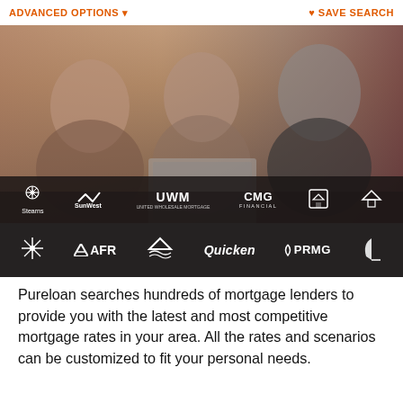ADVANCED OPTIONS ▾    ♥ SAVE SEARCH
[Figure (photo): A couple sitting with a financial advisor reviewing information on a laptop. Multiple mortgage lender logos displayed in two dark bars overlaid on the bottom of the image: Stearns, SunWest, UWM, CMG Financial, and two house/icon logos in the top bar; star logo, AFR, home logo, Quicken, PRMG, and a sail logo in the bottom bar.]
Pureloan searches hundreds of mortgage lenders to provide you with the latest and most competitive mortgage rates in your area. All the rates and scenarios can be customized to fit your personal needs.